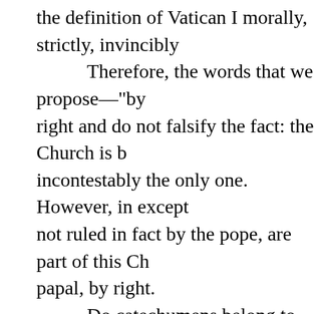the definition of Vatican I morally, strictly, invincibly bound, and so are subject to the papal, by right. Do catechumens belong to the Church more than baptized Christians? If an insertion of the type indicated is accepted by what is said in this note, it will greatly alleviate the Orthodox with respect to the texts dealing with infallibility in the same schema "De Ecclesia." 2) Number 15 should be done over, it seems